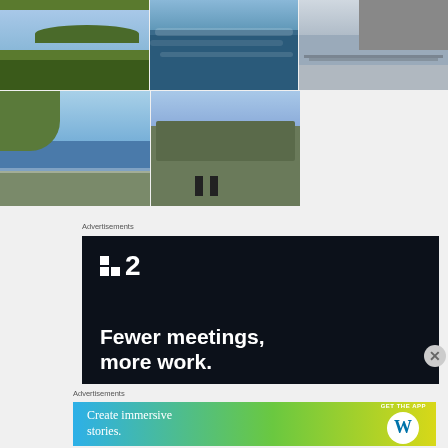[Figure (photo): Five outdoor/landscape photos arranged in a 3+2 grid: row 1 has green hills with lake, choppy water surface, birds on shore with pier; row 2 has rocky lakeshore with calm water, village street with cyclists]
Advertisements
[Figure (photo): Advertisement banner with dark background showing P2 logo and tagline 'Fewer meetings, more work.']
Advertisements
[Figure (photo): WordPress advertisement: gradient blue-green-yellow background with text 'Create immersive stories.' and 'GET THE APP' with WordPress logo]